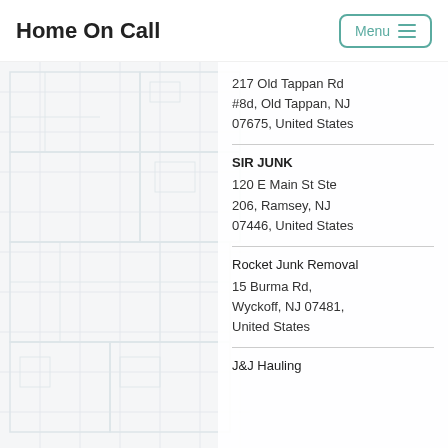Home On Call
Menu
217 Old Tappan Rd #8d, Old Tappan, NJ 07675, United States
SIR JUNK
120 E Main St Ste 206, Ramsey, NJ 07446, United States
Rocket Junk Removal
15 Burma Rd, Wyckoff, NJ 07481, United States
J&J Hauling